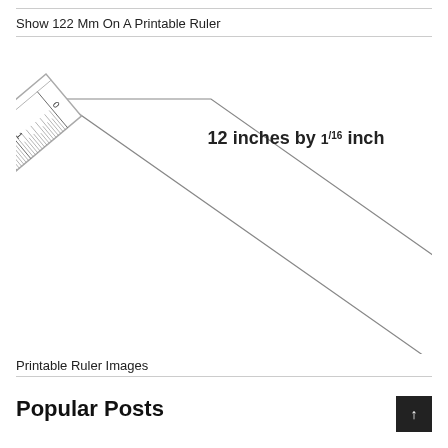Show 122 Mm On A Printable Ruler
[Figure (photo): A diagonal ruler showing inch markings from 0 to 6, with text '12 inches by 1/16 inch' on the right side]
Printable Ruler Images
Popular Posts